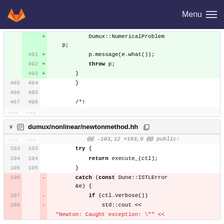[Figure (screenshot): GitLab navigation bar with fox logo and Menu button]
Code diff showing additions: p.message(e.what()); throw p; } at lines 491-493, and context lines 485-487 / 494-496 with } and /*!
dumux/nonlinear/newtonmethod.hh
Code diff for newtonmethod.hh: @@ -103,12 +103,6 @@ public: try { return execute_(ctl); } catch (const Dune::ISTLError &e) { if (ctl.verbose()) std::cout << "Newton: Caught exception: \"" <<